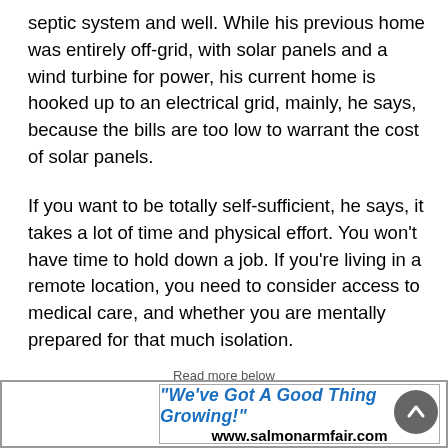septic system and well. While his previous home was entirely off-grid, with solar panels and a wind turbine for power, his current home is hooked up to an electrical grid, mainly, he says, because the bills are too low to warrant the cost of solar panels.
If you want to be totally self-sufficient, he says, it takes a lot of time and physical effort. You won't have time to hold down a job. If you're living in a remote location, you need to consider access to medical care, and whether you are mentally prepared for that much isolation.
Read more below
[Figure (other): Advertisement banner with roof logo image above and text: "We've Got A Good Thing Growing!" www.salmonarmfair.com]